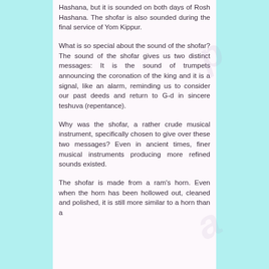Hashana, but it is sounded on both days of Rosh Hashana. The shofar is also sounded during the final service of Yom Kippur.
What is so special about the sound of the shofar? The sound of the shofar gives us two distinct messages: It is the sound of trumpets announcing the coronation of the king and it is a signal, like an alarm, reminding us to consider our past deeds and return to G-d in sincere teshuva (repentance).
Why was the shofar, a rather crude musical instrument, specifically chosen to give over these two messages? Even in ancient times, finer musical instruments producing more refined sounds existed.
The shofar is made from a ram's horn. Even when the horn has been hollowed out, cleaned and polished, it is still more similar to a horn than a